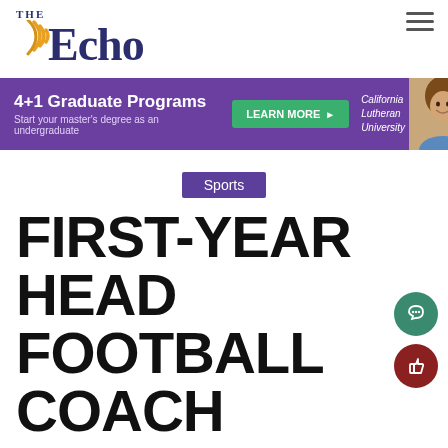THE Echo
[Figure (illustration): Advertisement banner for California Lutheran University 4+1 Graduate Programs with photo of smiling female student]
Sports
FIRST-YEAR HEAD FOOTBALL COACH ANTHONY LUGO,